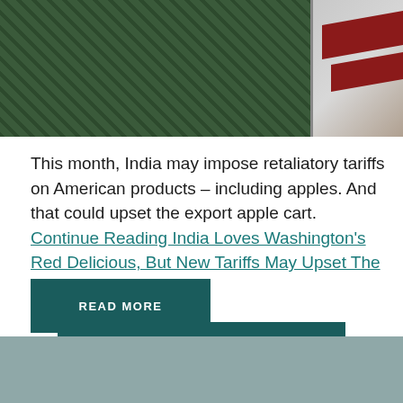[Figure (photo): Aerial or close-up photo showing green grass/foliage background with a red and white sign element visible on the right side]
This month, India may impose retaliatory tariffs on American products – including apples. And that could upset the export apple cart. Continue Reading India Loves Washington's Red Delicious, But New Tariffs May Upset The
READ MORE
LOAD MORE